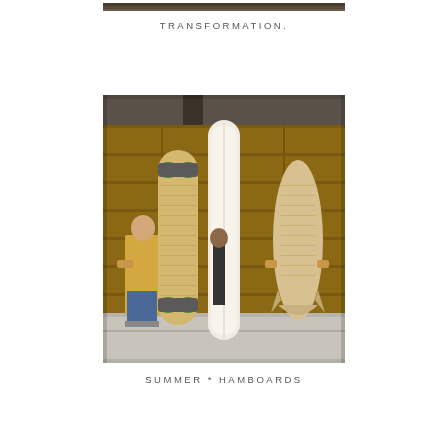[Figure (photo): Top cropped photo showing tops of surfboards/skateboards against a wooden garage door background]
TRANSFORMATION.
[Figure (photo): Two people standing in front of a wooden garage door, each holding large wooden longboard skateboards and surfboards. Three boards visible: a large bamboo longboard skateboard with green wheels, a tall white surfboard, and a smaller wooden fish surfboard. The people are partially obscured by the boards.]
SUMMER * HAMBOARDS